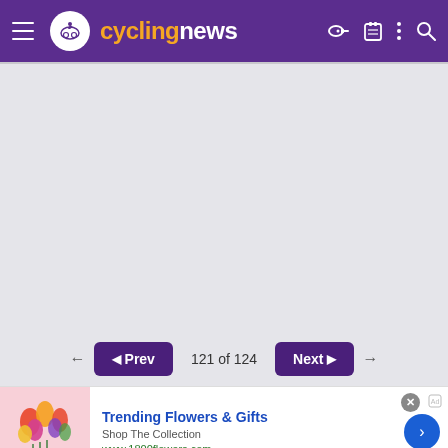cyclingnews
[Figure (screenshot): Gray empty content area placeholder]
121 of 124
[Figure (infographic): Advertisement for 1800flowers.com: Trending Flowers & Gifts, Shop The Collection, www.1800flowers.com]